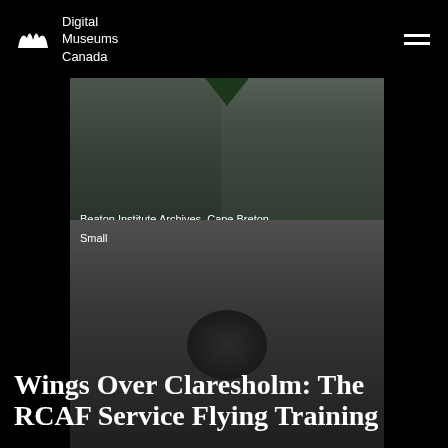Digital Museums Canada
[Figure (photo): Two historical portrait photographs side by side with a green fold/corner at top center, on a dark background. Text overlay reads: Beaton Institute Archives, Cape Breton University  2022]
Beaton Institute Archives, Cape Breton University  2022
[Figure (photo): Black and white photograph of what appears to be an aircraft engine or propeller with machinery, partially cropped. Label reads: Small]
Wings Over Claresholm: The RCAF Service Flying Training